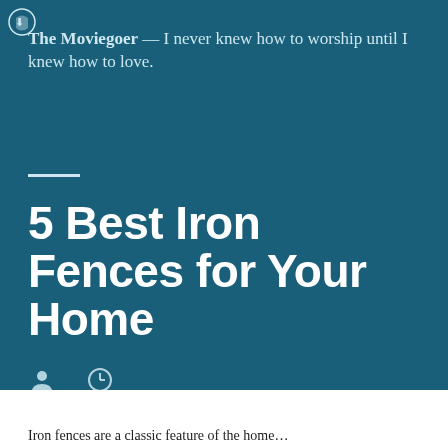The Moviegoer — I never knew how to worship until I knew how to love.
5 Best Iron Fences for Your Home
Iron fences are a classic feature of the home...